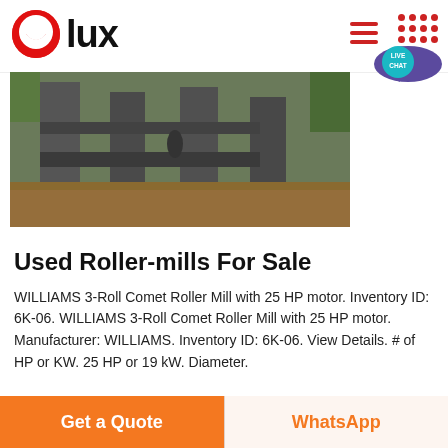[Figure (logo): Olux logo: red circle with white smile arc on left, bold black text 'lux' on right]
[Figure (photo): Industrial roller mill machinery installation photo, showing concrete pillars and muddy water environment]
Used Roller-mills For Sale
WILLIAMS 3-Roll Comet Roller Mill with 25 HP motor. Inventory ID: 6K-06. WILLIAMS 3-Roll Comet Roller Mill with 25 HP motor. Manufacturer: WILLIAMS. Inventory ID: 6K-06. View Details. # of HP or KW. 25 HP or 19 kW. Diameter.
Get a Quote
WhatsApp